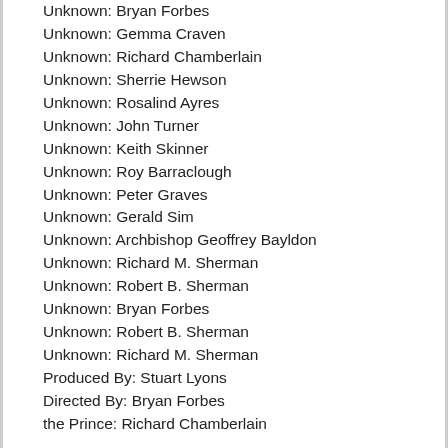Unknown:  Bryan Forbes
Unknown:  Gemma Craven
Unknown:  Richard Chamberlain
Unknown:  Sherrie Hewson
Unknown:  Rosalind Ayres
Unknown:  John Turner
Unknown:  Keith Skinner
Unknown:  Roy Barraclough
Unknown:  Peter Graves
Unknown:  Gerald Sim
Unknown:  Archbishop Geoffrey Bayldon
Unknown:  Richard M. Sherman
Unknown:  Robert B. Sherman
Unknown:  Bryan Forbes
Unknown:  Robert B. Sherman
Unknown:  Richard M. Sherman
Produced By:  Stuart Lyons
Directed By:  Bryan Forbes
the Prince:  Richard Chamberlain